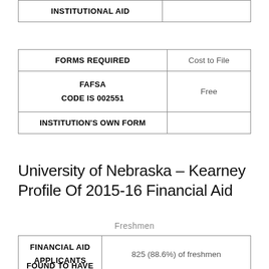| INSTITUTIONAL AID |  |
| --- | --- |
| FORMS REQUIRED | Cost to File |
| --- | --- |
| FAFSA
CODE IS 002551 | Free |
| INSTITUTION'S OWN FORM |  |
University of Nebraska – Kearney Profile Of 2015-16 Financial Aid
Freshmen
| FINANCIAL AID APPLICANTS |  |
| --- | --- |
| FINANCIAL AID APPLICANTS | 825 (88.6%) of freshmen |
| FOUND TO HAVE ... |  |